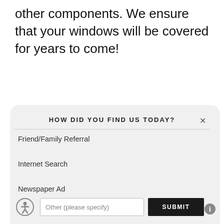other components. We ensure that your windows will be covered for years to come!
HOW DID YOU FIND US TODAY?
Friend/Family Referral
Internet Search
Newspaper Ad
Other (please specify)
SUBMIT